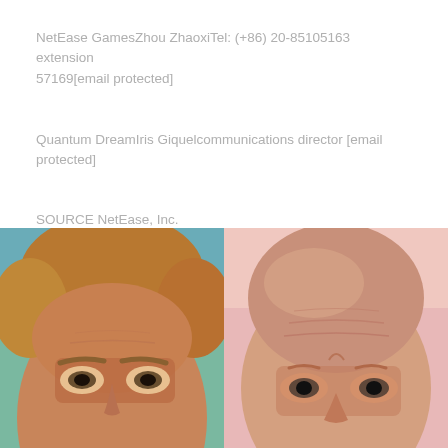NetEase GamesZhou ZhaoxiTel: (+86) 20-85105163 extension 57169[email protected]
Quantum DreamIris Giquelcommunications director [email protected]
SOURCE NetEase, Inc.
[Figure (photo): Two close-up photos side by side: left photo shows a middle-aged man with light brown/blonde hair against a teal/green blurred background; right photo shows an older bald man against a pink/light blurred background.]